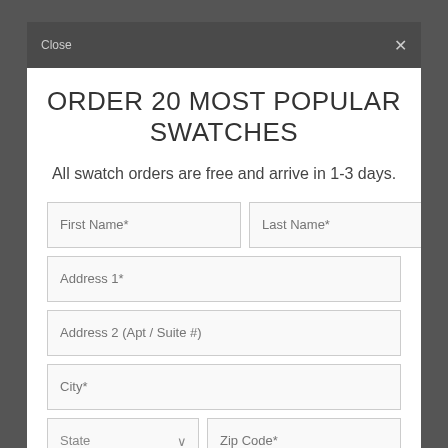Close  ×
ORDER 20 MOST POPULAR SWATCHES
All swatch orders are free and arrive in 1-3 days.
Form fields: First Name*, Last Name*, Address 1*, Address 2 (Apt / Suite #), City*, State (dropdown), Zip Code*, Email*